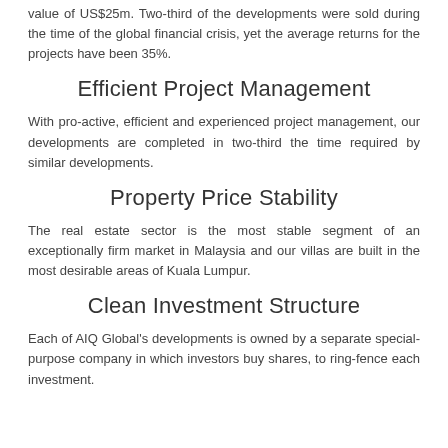value of US$25m. Two-third of the developments were sold during the time of the global financial crisis, yet the average returns for the projects have been 35%.
Efficient Project Management
With pro-active, efficient and experienced project management, our developments are completed in two-third the time required by similar developments.
Property Price Stability
The real estate sector is the most stable segment of an exceptionally firm market in Malaysia and our villas are built in the most desirable areas of Kuala Lumpur.
Clean Investment Structure
Each of AIQ Global's developments is owned by a separate special-purpose company in which investors buy shares, to ring-fence each investment.